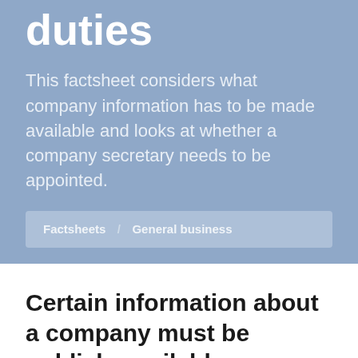duties
This factsheet considers what company information has to be made available and looks at whether a company secretary needs to be appointed.
Factsheets / General business
Certain information about a company must be publicly available